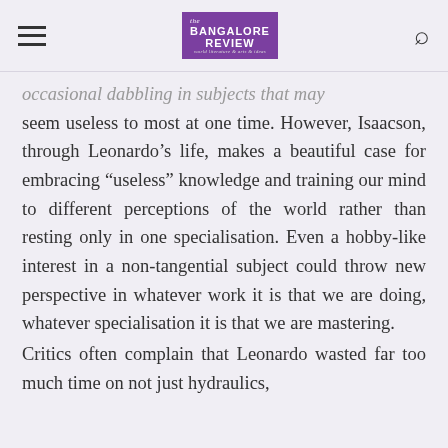The Bangalore Review
occasional dabbling in subjects that may seem useless to most at one time. However, Isaacson, through Leonardo’s life, makes a beautiful case for embracing “useless” knowledge and training our mind to different perceptions of the world rather than resting only in one specialisation. Even a hobby-like interest in a non-tangential subject could throw new perspective in whatever work it is that we are doing, whatever specialisation it is that we are mastering.
Critics often complain that Leonardo wasted far too much time on not just hydraulics,